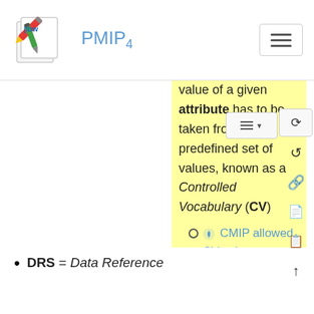PMIP4
value of a given attribute has to be taken from a predefined set of values, known as a Controlled Vocabulary (CV)
• CMIP allowed CV values
DRS = Data Reference